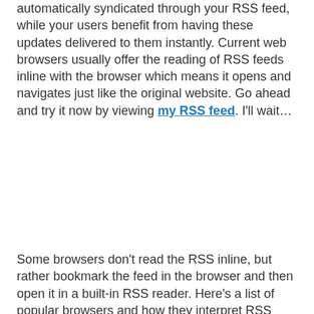automatically syndicated through your RSS feed, while your users benefit from having these updates delivered to them instantly. Current web browsers usually offer the reading of RSS feeds inline with the browser which means it opens and navigates just like the original website. Go ahead and try it now by viewing my RSS feed. I'll wait…
Some browsers don't read the RSS inline, but rather bookmark the feed in the browser and then open it in a built-in RSS reader. Here's a list of popular browsers and how they interpret RSS feeds.